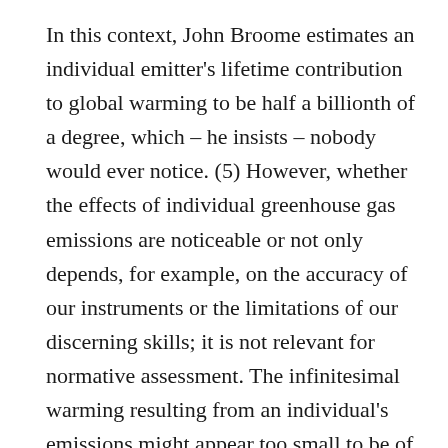In this context, John Broome estimates an individual emitter's lifetime contribution to global warming to be half a billionth of a degree, which – he insists – nobody would ever notice. (5) However, whether the effects of individual greenhouse gas emissions are noticeable or not only depends, for example, on the accuracy of our instruments or the limitations of our discerning skills; it is not relevant for normative assessment. The infinitesimal warming resulting from an individual's emissions might appear too small to be of any consequence, it is not zero, and it increases the risk of climate change harms, if only by a fraction. As Catriona McKinnon eloquently puts it: 'every token act of emitting greenhouse gases creates risks of serious climate change harms. At the very least, assuming that